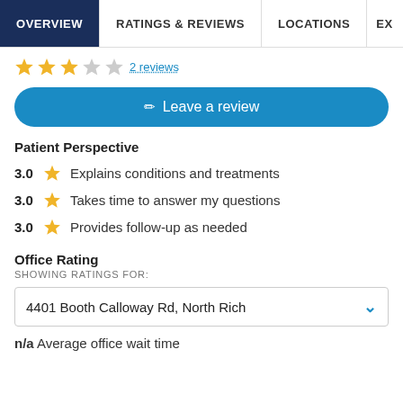OVERVIEW | RATINGS & REVIEWS | LOCATIONS | EX
[Figure (other): Star rating row showing 3 filled gold stars and 2 empty grey stars, with a link '2 reviews']
[Figure (other): Blue rounded button with pencil icon and text 'Leave a review']
Patient Perspective
3.0  Explains conditions and treatments
3.0  Takes time to answer my questions
3.0  Provides follow-up as needed
Office Rating
SHOWING RATINGS FOR:
4401 Booth Calloway Rd, North Rich
n/a Average office wait time